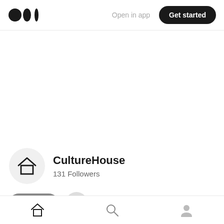Medium logo | Open in app | Get started
[Figure (logo): Medium logo — two overlapping circles and a vertical bar]
Open in app
Get started
CultureHouse
131 Followers
Follow
Home
Bottom navigation bar with home, search, and profile icons